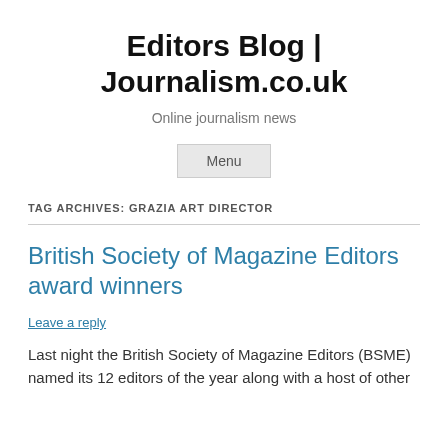Editors Blog | Journalism.co.uk
Online journalism news
Menu
TAG ARCHIVES: GRAZIA ART DIRECTOR
British Society of Magazine Editors award winners
Leave a reply
Last night the British Society of Magazine Editors (BSME) named its 12 editors of the year along with a host of other